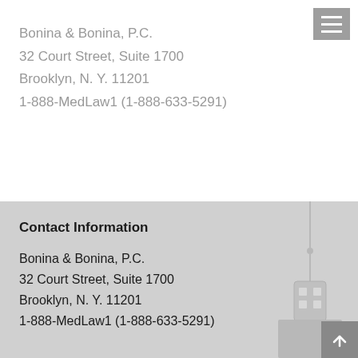Bonina & Bonina, P.C.
32 Court Street, Suite 1700
Brooklyn, N. Y. 11201
1-888-MedLaw1 (1-888-633-5291)
Contact Information
Bonina & Bonina, P.C.
32 Court Street, Suite 1700
Brooklyn, N. Y. 11201
1-888-MedLaw1 (1-888-633-5291)